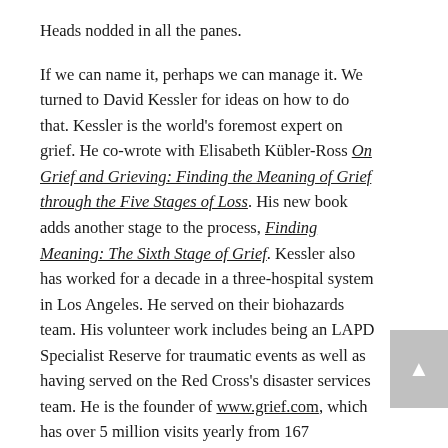Heads nodded in all the panes.
If we can name it, perhaps we can manage it. We turned to David Kessler for ideas on how to do that. Kessler is the world's foremost expert on grief. He co-wrote with Elisabeth Kübler-Ross On Grief and Grieving: Finding the Meaning of Grief through the Five Stages of Loss. His new book adds another stage to the process, Finding Meaning: The Sixth Stage of Grief. Kessler also has worked for a decade in a three-hospital system in Los Angeles. He served on their biohazards team. His volunteer work includes being an LAPD Specialist Reserve for traumatic events as well as having served on the Red Cross's disaster services team. He is the founder of www.grief.com, which has over 5 million visits yearly from 167 countries.
Kessler shared his thoughts on why it's important to acknowledge the grief you may be feeling, how to manage it,